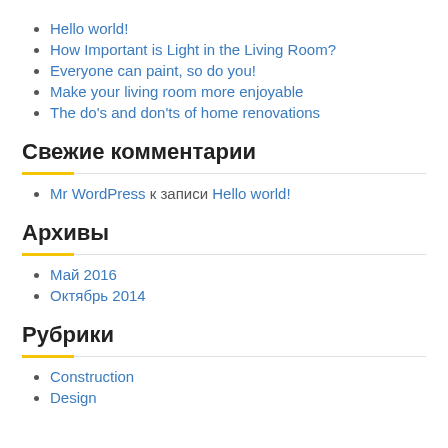Hello world!
How Important is Light in the Living Room?
Everyone can paint, so do you!
Make your living room more enjoyable
The do's and don'ts of home renovations
Свежие комментарии
Mr WordPress к записи Hello world!
Архивы
Май 2016
Октябрь 2014
Рубрики
Construction
Design